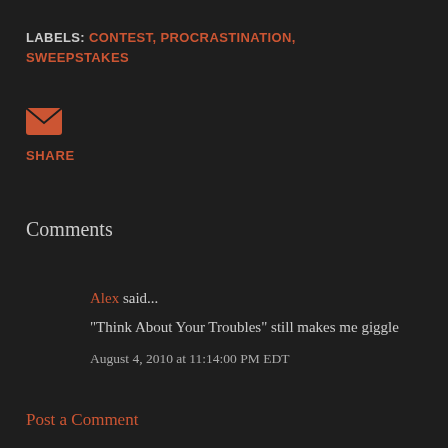LABELS: CONTEST, PROCRASTINATION, SWEEPSTAKES
[Figure (other): Email/share envelope icon in orange-red]
SHARE
Comments
Alex said... "Think About Your Troubles" still makes me giggle August 4, 2010 at 11:14:00 PM EDT
Post a Comment